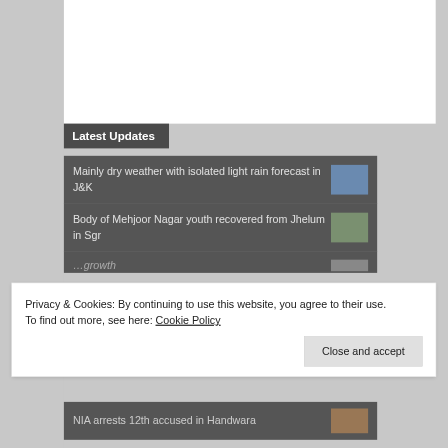Latest Updates
Mainly dry weather with isolated light rain forecast in J&K
Body of Mehjoor Nagar youth recovered from Jhelum in Sgr
Privacy & Cookies: By continuing to use this website, you agree to their use.
To find out more, see here: Cookie Policy
Close and accept
NIA arrests 12th accused in Handwara